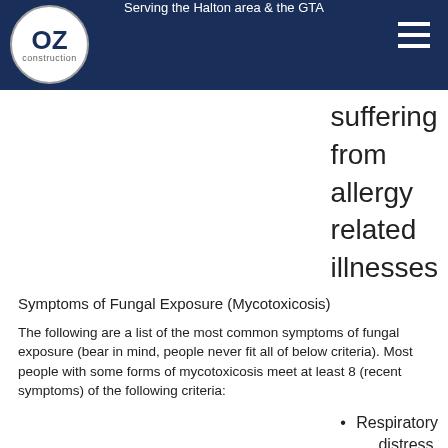Serving the Halton area & the GTA
suffering from allergy related illnesses
Symptoms of Fungal Exposure (Mycotoxicosis)
The following are a list of the most common symptoms of fungal exposure (bear in mind, people never fit all of below criteria). Most people with some forms of mycotoxicosis meet at least 8 (recent symptoms) of the following criteria:
Respiratory distress,